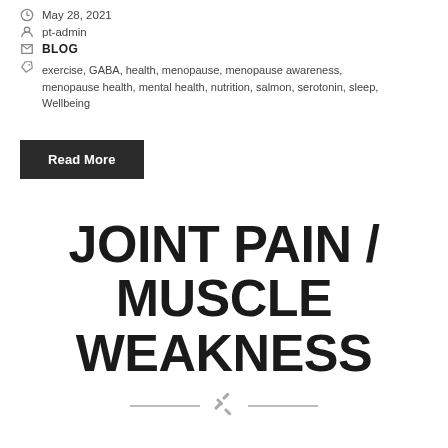May 28, 2021
pt-admin
BLOG
exercise, GABA, health, menopause, menopause awareness, menopause health, mental health, nutrition, salmon, serotonin, sleep, Wellbeing
Read More
JOINT PAIN / MUSCLE WEAKNESS